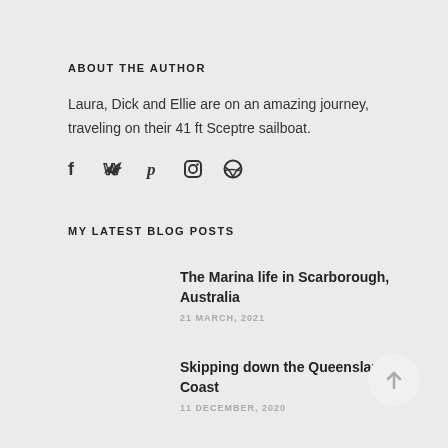ABOUT THE AUTHOR
Laura, Dick and Ellie are on an amazing journey, traveling on their 41 ft Sceptre sailboat.
[Figure (illustration): Row of five social media icons: Facebook (f), Twitter (bird/y), Pinterest (p), Instagram (camera), Dribbble (circle with lines)]
MY LATEST BLOG POSTS
The Marina life in Scarborough, Australia
21 MARCH, 2021
Skipping down the Queensland Coast
11 DECEMBER, 2020